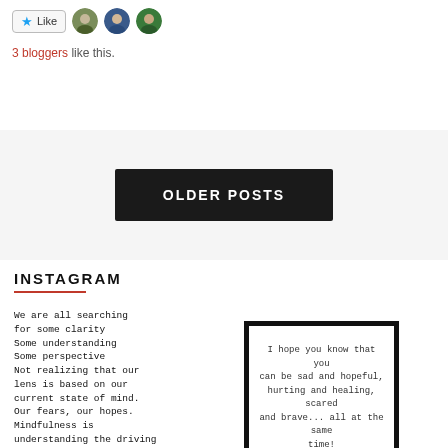[Figure (screenshot): Like button with star icon and three avatar profile photos]
3 bloggers like this.
OLDER POSTS
INSTAGRAM
We are all searching for some clarity Some understanding Some perspective Not realizing that our lens is based on our current state of mind. Our fears, our hopes. Mindfulness is understanding the driving force behind our outlook and changing it according to the one prescribed.
[Figure (photo): Instagram card with handwritten-style text: I hope you know that you can be sad and hopeful, hurting and healing, scared and brave... all at the same time!]